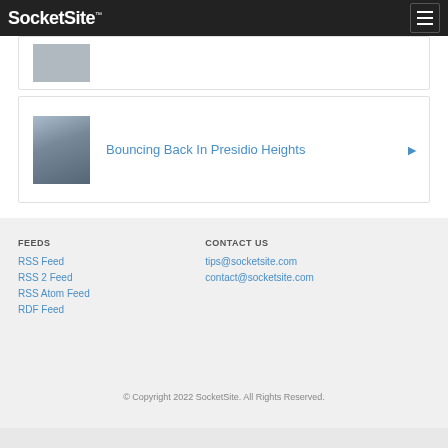SocketSite™
[Figure (photo): Partial thumbnail of a building photo, cropped at top of viewport]
Bouncing Back In Presidio Heights
FEEDS
RSS Feed
RSS 2 Feed
RSS Atom Feed
RDF Feed
CONTACT US
tips@socketsite.com
contact@socketsite.com
© Copyright 2022 SocketSite. All Rights Reserved.